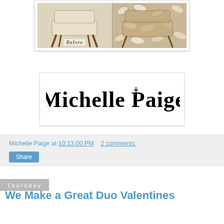[Figure (photo): Before and after photo of a chair reupholstery project. Left side shows chair with plain beige fabric labeled 'Before', right side shows chair with decorative leaf pattern fabric.]
[Figure (logo): Michelle Paige signature logo in cursive black script on white background with border.]
Michelle Paige at 10:13:00 PM   2 comments:
Share
Thursday
We Make a Great Duo Valentines